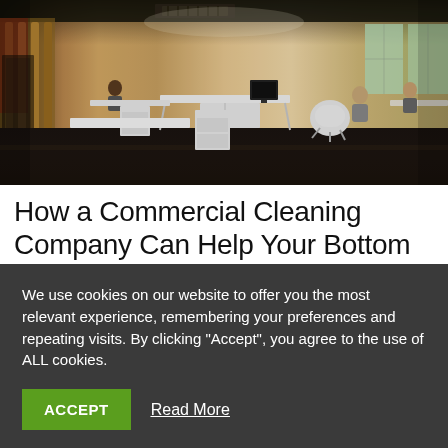[Figure (photo): Open-plan office space with white desks, computers, employees working, dark polished floor, warm lighting, high ceiling with ventilation unit]
How a Commercial Cleaning Company Can Help Your Bottom Line
We use cookies on our website to offer you the most relevant experience, remembering your preferences and repeating visits. By clicking "Accept", you agree to the use of ALL cookies.
ACCEPT   Read More